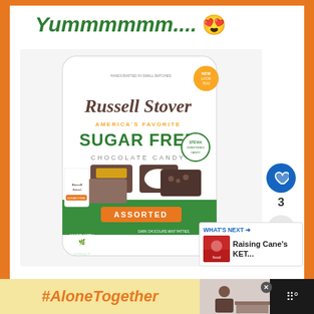Yummmmmm.... 😍
[Figure (photo): Russell Stover America's Favorite Sugar Free Chocolate Candy Assorted bag including dark chocolate mint patties, pecan delights, peanut butter cups, coconut & caramel in chocolate candy. Made with Stevia Extract. New look too badge visible.]
3
WHAT'S NEXT → Raising Cane's KET...
#AloneTogether